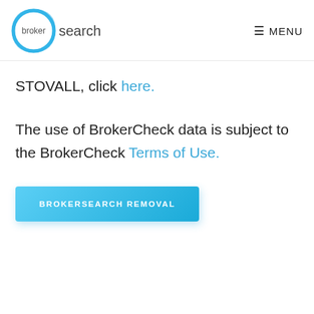[Figure (logo): BrokerSearch logo: a blue hand-drawn circle with 'broker' inside and 'search' to the right in gray]
≡ MENU
STOVALL, click here.
The use of BrokerCheck data is subject to the BrokerCheck Terms of Use.
BROKERSEARCH REMOVAL